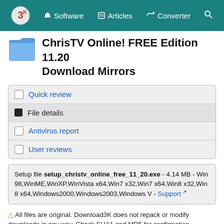3K | Software | Articles | Converter | Search
ChrisTV Online! FREE Edition 11.20 Download Mirrors
Quick review
File details
Antivirus report
User reviews
Setup file setup_christv_online_free_11_20.exe - 4.14 MB - Win 98,WinME,WinXP,WinVista x64,Win7 x32,Win7 x64,Win8 x32,Win 8 x64,Windows2000,Windows2003,Windows V - Support
All files are original. Download3K does not repack or modify downloads in any way. Check SHA1 and MD5 for confirmation.
Select a download mirror:
Download3k US (setup_christv_online_free_11_20.exe)
Download3k EU (setup_christv_online_free_11_20.exe)